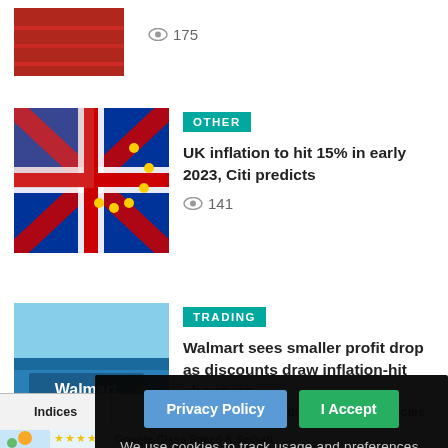[Figure (photo): Partial view of a red flag (China flag) image at top]
👁 175
[Figure (photo): UK and EU flags overlapping]
OTHER
UK inflation to hit 15% in early 2023, Citi predicts
👁 141
[Figure (photo): Walmart store exterior with blue facade and logo]
TRADING
Walmart sees smaller profit drop as discounts draw inflation-hit shoppers
Privacy Policy   I Accept
We use cookies to track usage and preferences.
Indices  Futures  Commodities  Currencies
[Figure (illustration): Ad illustration with hairdresser and stars]
Google-Class Speed & Securit
Use Your Existing Google Account To Acc
Hosting, And More.
Google Domains